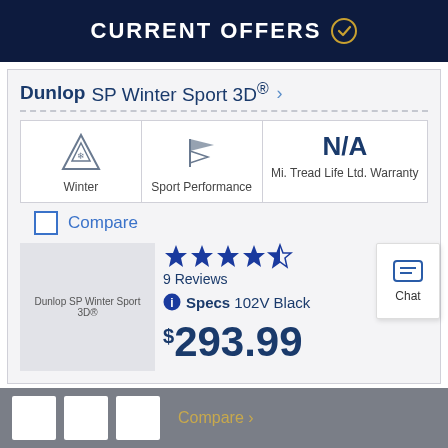CURRENT OFFERS
Dunlop SP Winter Sport 3D®
[Figure (infographic): Three icon cells: mountain/snowflake icon labeled Winter, checkered flag icon labeled Sport Performance, and N/A Mi. Tread Life Ltd. Warranty]
Compare
[Figure (photo): Dunlop SP Winter Sport 3D® tire product image placeholder]
[Figure (infographic): 4 out of 5 blue stars rating]
9 Reviews
Specs 102V Black
$293.99
Compare